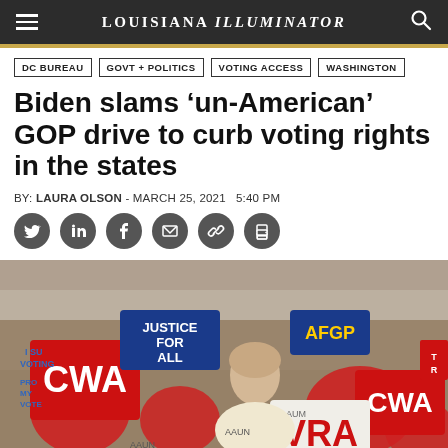LOUISIANA ILLUMINATOR
DC BUREAU
GOVT + POLITICS
VOTING ACCESS
WASHINGTON
Biden slams ‘un-American’ GOP drive to curb voting rights in the states
BY: LAURA OLSON - MARCH 25, 2021   5:40 PM
[Figure (photo): Protesters at a rally holding signs including CWA, JUSTICE FOR ALL, AFGR, AAU, and VRA signs, advocating for voting rights.]